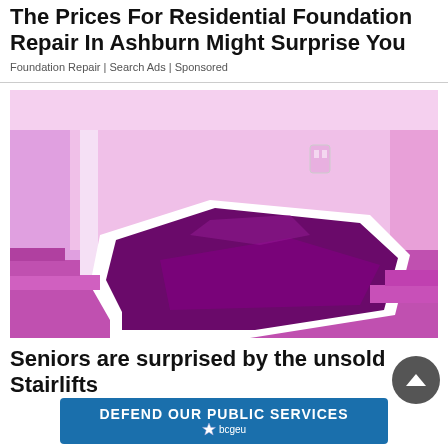The Prices For Residential Foundation Repair In Ashburn Might Surprise You
Foundation Repair | Search Ads | Sponsored
[Figure (photo): Pink/purple tinted image of a stairlift platform or step mechanism on a staircase, octagonal shape with white trim in a room with purple-tinted flooring and walls]
Seniors are surprised by the unsold Stairlifts
[Figure (logo): BCGEU banner ad: blue rectangle with white text 'DEFEND OUR PUBLIC SERVICES' and bcgeu logo with star icon below]